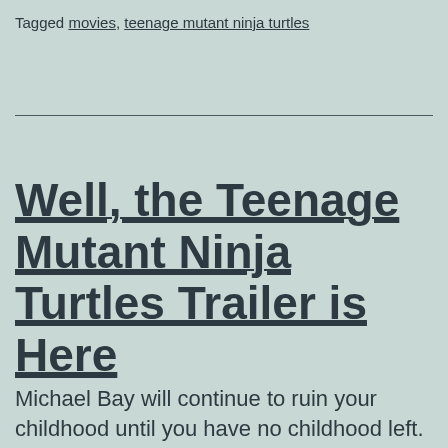Tagged movies, teenage mutant ninja turtles
Well, the Teenage Mutant Ninja Turtles Trailer is Here
Michael Bay will continue to ruin your childhood until you have no childhood left. Up